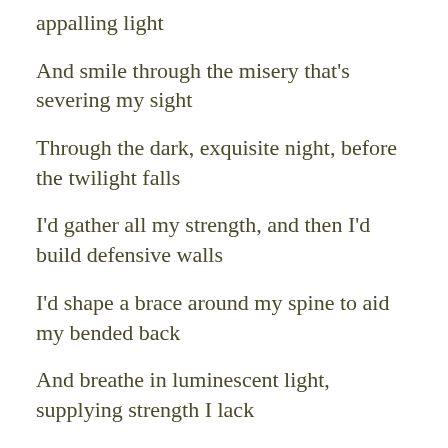appalling light
And smile through the misery that's severing my sight
Through the dark, exquisite night, before the twilight falls
I'd gather all my strength, and then I'd build defensive walls
I'd shape a brace around my spine to aid my bended back
And breathe in luminescent light, supplying strength I lack
The whispers thickening the black will hug my weightless hand